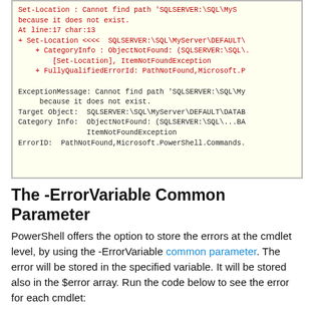[Figure (screenshot): Terminal/code output box with yellow background showing PowerShell error messages. Red text shows error lines about Set-Location cannot find path SQLSERVER:\SQL\MyServer\DEFAULT\, At line:17 char:13, + Set-Location <<<< SQLSERVER:\SQL\MyServer\DEFAULT\, + CategoryInfo: ObjectNotFound: (SQLSERVER:\SQL\. [Set-Location], ItemNotFoundException, + FullyQualifiedErrorId: PathNotFound,Microsoft.P. Black text shows ExceptionMessage, Target Object, Category Info, ErrorID details.]
The -ErrorVariable Common Parameter
PowerShell offers the option to store the errors at the cmdlet level, by using the -ErrorVariable common parameter. The error will be stored in the specified variable. It will be stored also in the $error array. Run the code below to see the error for each cmdlet: